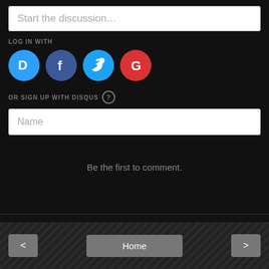Start the discussion…
LOG IN WITH
[Figure (other): Social login icons: Disqus (blue circle with D), Facebook (dark blue circle with f), Twitter (light blue circle with bird), Google (red circle with G)]
OR SIGN UP WITH DISQUS ?
Name
Be the first to comment.
Subscribe  Add Disqus  Do Not Sell My Data    DISQUS